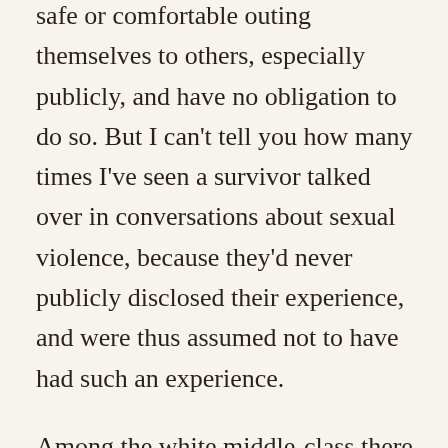safe or comfortable outing themselves to others, especially publicly, and have no obligation to do so. But I can't tell you how many times I've seen a survivor talked over in conversations about sexual violence, because they'd never publicly disclosed their experience, and were thus assumed not to have had such an experience.
Among the white middle-class there is